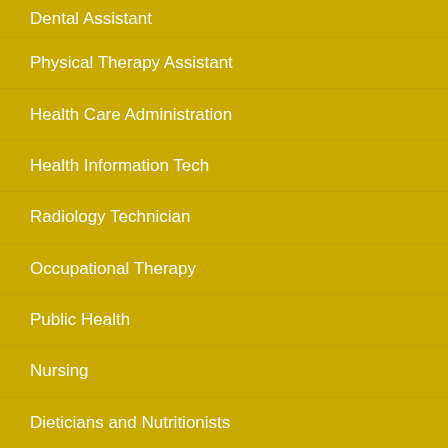Dental Assistant
Physical Therapy Assistant
Health Care Administration
Health Information Tech
Radiology Technician
Occupational Therapy
Public Health
Nursing
Dieticians and Nutritionists